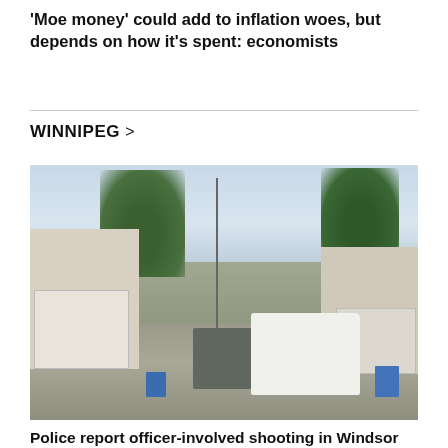'Moe money' could add to inflation woes, but depends on how it's spent: economists
WINNIPEG >
[Figure (photo): An alley between residential garages with police vehicles parked, including a white van. Trees and houses visible in background.]
Police report officer-involved shooting in Windsor Park